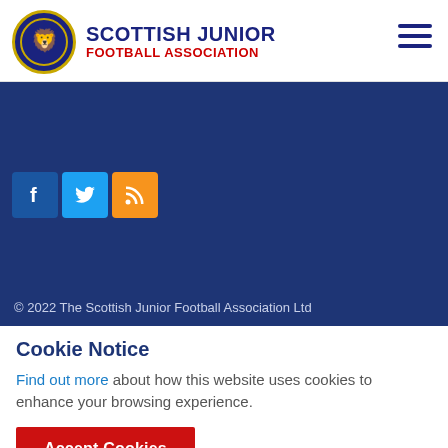SCOTTISH JUNIOR FOOTBALL ASSOCIATION
[Figure (logo): Scottish Junior Football Association circular crest logo with lion]
[Figure (illustration): Social media icons: Facebook (blue f), Twitter (blue bird), RSS (orange RSS)]
© 2022 The Scottish Junior Football Association Ltd
Privacy Policy
Terms and Conditions
Cookie Notice
Find out more about how this website uses cookies to enhance your browsing experience.
Accept Cookies